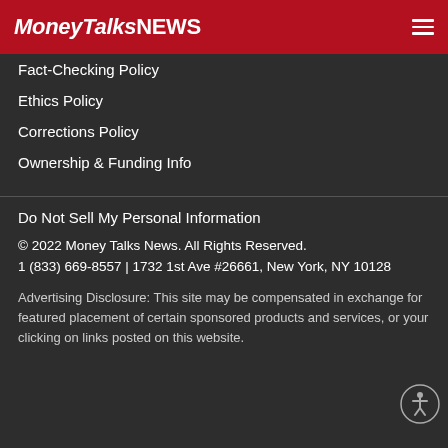MoneyTalksNews
Fact-Checking Policy
Ethics Policy
Corrections Policy
Ownership & Funding Info
Do Not Sell My Personal Information
© 2022 Money Talks News. All Rights Reserved.
1 (833) 669-8557 | 1732 1st Ave #26661, New York, NY 10128
Advertising Disclosure: This site may be compensated in exchange for featured placement of certain sponsored products and services, or your clicking on links posted on this website.